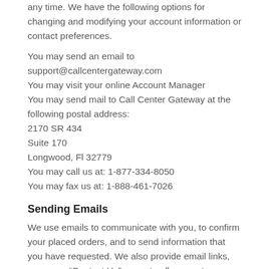any time. We have the following options for changing and modifying your account information or contact preferences.
You may send an email to support@callcentergateway.com
You may visit your online Account Manager
You may send mail to Call Center Gateway at the following postal address:
2170 SR 434
Suite 170
Longwood, Fl 32779
You may call us at: 1-877-334-8050
You may fax us at: 1-888-461-7026
Sending Emails
We use emails to communicate with you, to confirm your placed orders, and to send information that you have requested. We also provide email links, as on our “Contact Us” page, to allow you to contact us directly. We